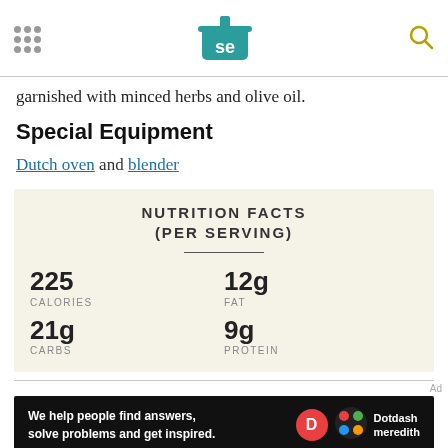Serious Eats logo and navigation
garnished with minced herbs and olive oil.
Special Equipment
Dutch oven and blender
| NUTRITION FACTS (PER SERVING) |
| --- |
| 225 CALORIES | 12g FAT |
| 21g CARBS | 9g PROTEIN |
Ad — We help people find answers, solve problems and get inspired. Dotdash meredith